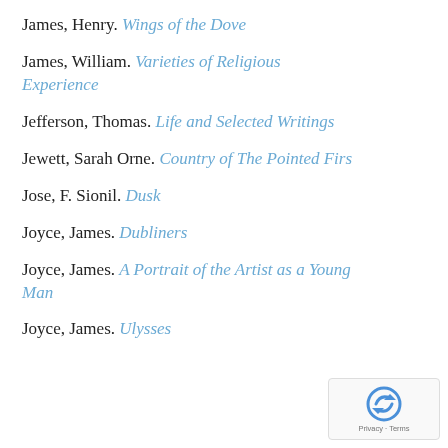James, Henry. Wings of the Dove
James, William. Varieties of Religious Experience
Jefferson, Thomas. Life and Selected Writings
Jewett, Sarah Orne. Country of The Pointed Firs
Jose, F. Sionil. Dusk
Joyce, James. Dubliners
Joyce, James. A Portrait of the Artist as a Young Man
Joyce, James. Ulysses